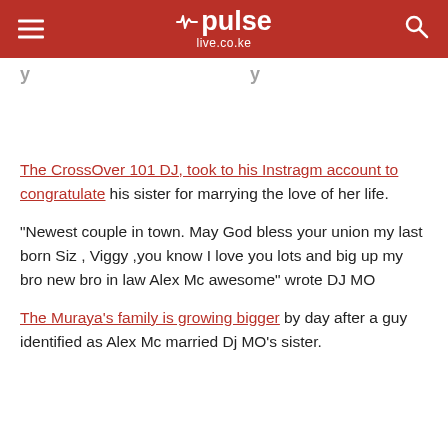pulse live.co.ke
The CrossOver 101 DJ, took to his Instragm account to congratulate his sister for marrying the love of her life.
“Newest couple in town. May God bless your union my last born Siz , Viggy ,you know I love you lots and big up my bro new bro in law Alex Mc awesome” wrote DJ MO
The Muraya’s family is growing bigger by day after a guy identified as Alex Mc married Dj MO’s sister.